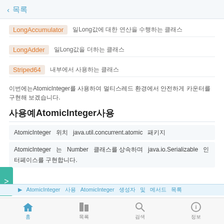< 목록
LongAccumulator  일Long값에 대한 연산을 수행하는 클래스
LongAdder  일Long값을 더하는 클래스
Striped64  내부에서 사용하는 클래스
이번에는AtomicInteger를 사용하여 멀티스레드 환경에서 안전하게 카운터를 구현해 보겠습니다.
사용예AtomicInteger사용
AtomicInteger 위치 java.util.concurrent.atomic 패키지
AtomicInteger 는 Number 클래스를 상속하며 java.io.Serializable 인터페이스를 구현합니다.
홈   목록   검색   정보